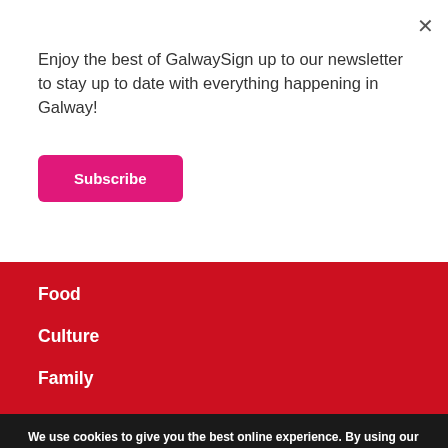Enjoy the best of GalwaySign up to our newsletter to stay up to date with everything happening in Galway!
Subscribe
Food
Culture
Family
We use cookies to give you the best online experience. By using our website you agree to our use of cookies in accordance with our cookie policy, and agree that we can send you personalized ads and communications during your online experience. To read our cookie policy and learn how to disable cookies, click here: settings.
Accept
Reject
Settings